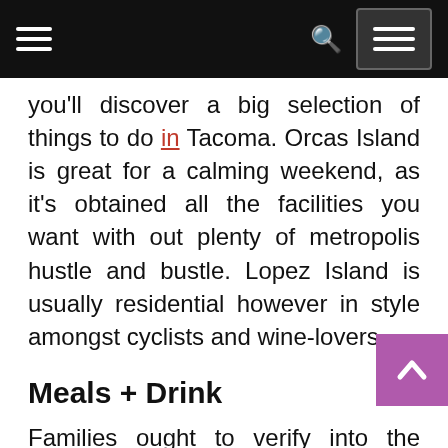Navigation bar with hamburger menu, search icon, and menu button
you'll discover a big selection of things to do in Tacoma. Orcas Island is great for a calming weekend, as it's obtained all the facilities you want with out plenty of metropolis hustle and bustle. Lopez Island is usually residential however in style amongst cyclists and wine-lovers.
Meals + Drink
Families ought to verify into the renovated Hyatt Regency Scottsdale Resort which has a water playground with a water slide. Located less than 2 hours from Los Ang The Hyatt Regency Indian Wells Resort and Spa is a good weekend getaway destination